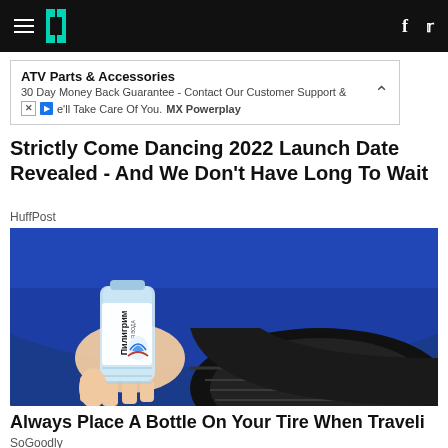HuffPost navigation header with hamburger menu, logo, Facebook and Twitter icons
[Figure (screenshot): Advertisement box: ATV Parts & Accessories - 30 Day Money Back Guarantee - Contact Our Customer Support & We'll Take Care Of You. MX Powerplay]
Strictly Come Dancing 2022 Launch Date Revealed - And We Don't Have Long To Wait
HuffPost
[Figure (photo): A hand holding a plastic water bottle (Piligrim brand, Russian label) pressed against a blue car tire tread]
Always Place A Bottle On Your Tire When Traveli
SoGoodly